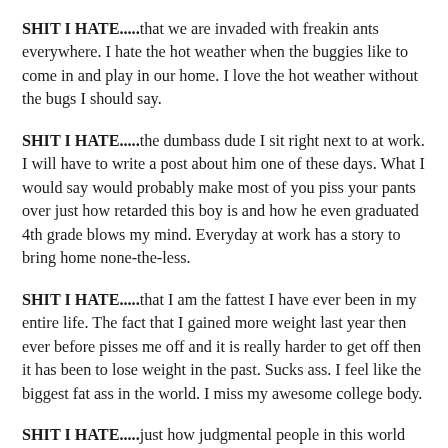SHIT I HATE.....that we are invaded with freakin ants everywhere. I hate the hot weather when the buggies like to come in and play in our home. I love the hot weather without the bugs I should say.
SHIT I HATE.....the dumbass dude I sit right next to at work. I will have to write a post about him one of these days. What I would say would probably make most of you piss your pants over just how retarded this boy is and how he even graduated 4th grade blows my mind. Everyday at work has a story to bring home none-the-less.
SHIT I HATE.....that I am the fattest I have ever been in my entire life. The fact that I gained more weight last year then ever before pisses me off and it is really harder to get off then it has been to lose weight in the past. Sucks ass. I feel like the biggest fat ass in the world. I miss my awesome college body.
SHIT I HATE.....just how judgmental people in this world are.